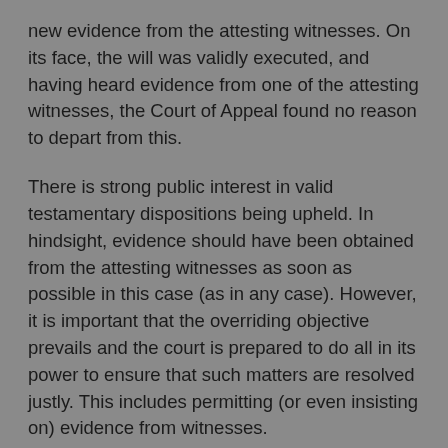new evidence from the attesting witnesses. On its face, the will was validly executed, and having heard evidence from one of the attesting witnesses, the Court of Appeal found no reason to depart from this.
There is strong public interest in valid testamentary dispositions being upheld. In hindsight, evidence should have been obtained from the attesting witnesses as soon as possible in this case (as in any case). However, it is important that the overriding objective prevails and the court is prepared to do all in its power to ensure that such matters are resolved justly. This includes permitting (or even insisting on) evidence from witnesses.
This case should also serve as a reminder to solicitors to be particularly vigilant in circumstances where they leave it to their client to execute a will themselves to ensure that the requirements of the Wills Act 1837 have been properly met. In the case of Humblestone v Martin